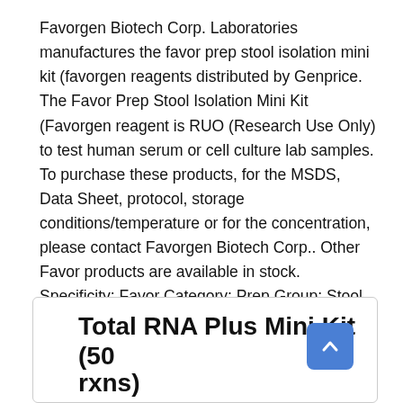Favorgen Biotech Corp. Laboratories manufactures the favor prep stool isolation mini kit (favorgen reagents distributed by Genprice. The Favor Prep Stool Isolation Mini Kit (Favorgen reagent is RUO (Research Use Only) to test human serum or cell culture lab samples. To purchase these products, for the MSDS, Data Sheet, protocol, storage conditions/temperature or for the concentration, please contact Favorgen Biotech Corp.. Other Favor products are available in stock. Specificity: Favor Category: Prep Group: Stool Isolation
Total RNA Plus Mini Kit (50